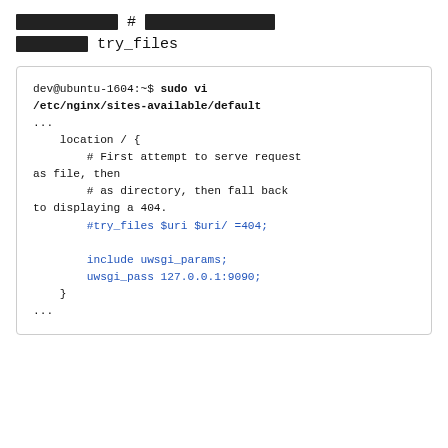██████████ # ███████████████ ██████ try_files
[Figure (screenshot): Terminal and nginx config code block showing sudo vi /etc/nginx/sites-available/default with location block containing commented try_files directive and uwsgi include/pass directives]